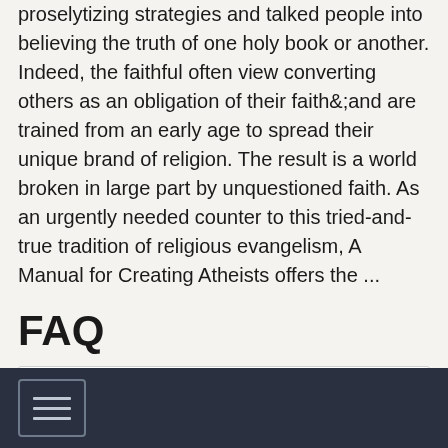proselytizing strategies and talked people into believing the truth of one holy book or another. Indeed, the faithful often view converting others as an obligation of their faith&;and are trained from an early age to spread their unique brand of religion. The result is a world broken in large part by unquestioned faith. As an urgently needed counter to this tried-and-true tradition of religious evangelism, A Manual for Creating Atheists offers the ...
FAQ
How much will I pay for delivery?